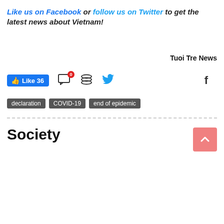Like us on Facebook or follow us on Twitter to get the latest news about Vietnam!
Tuoi Tre News
[Figure (other): Social media action bar with Facebook Like (36), comment icon with badge 0, layers icon, Twitter bird icon, and Facebook f icon]
declaration
COVID-19
end of epidemic
Society